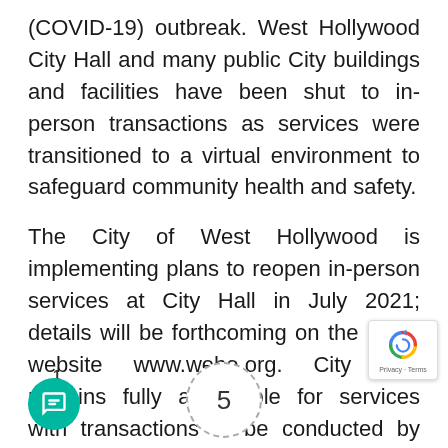(COVID-19) outbreak. West Hollywood City Hall and many public City buildings and facilities have been shut to in-person transactions as services were transitioned to a virtual environment to safeguard community health and safety.
The City of West Hollywood is implementing plans to reopen in-person services at City Hall in July 2021; details will be forthcoming on the City's website www.weho.org. City Hall remains fully accessible for services with transactions to be conducted by phone (323) 848-6400 and via the City's website.
5